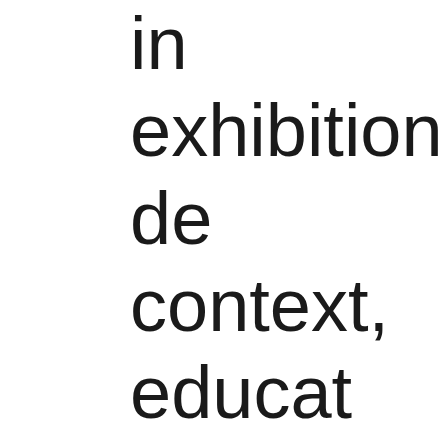in exhibition de… context, educat… public appeal. T… exhibitions nom… continents, 27 c… cities. The Asia… Museum was th… Asian institution…